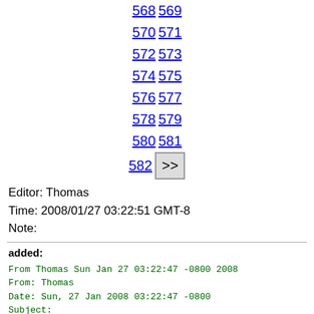568 569 570 571 572 573 574 575 576 577 578 579 580 581 582 >>
Editor: Thomas
Time: 2008/01/27 03:22:51 GMT-8
Note:
added:
From Thomas Sun Jan 27 03:22:47 -0800 2008
From: Thomas
Date: Sun, 27 Jan 2008 03:22:47 -0800
Subject:
Message-ID: <20080127032247-0800@axiom-wiki.newsynthesis.org>

\begin{axiom}
guess([1,1,2,7,40,355,4720,91690,2559980,101724390],
[guessRat], [guessSum, guessProduct], maxLevel==2)
\end{axiom}